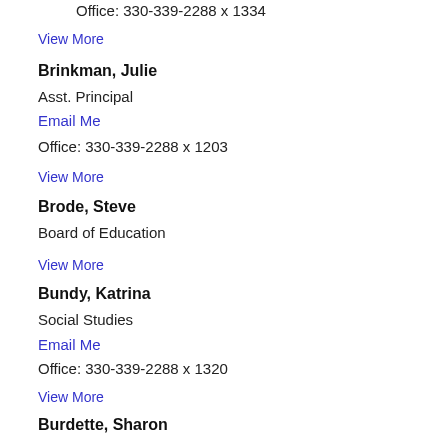Office: 330-339-2288 x 1334
View More
Brinkman, Julie
Asst. Principal
Email Me
Office: 330-339-2288 x 1203
View More
Brode, Steve
Board of Education
View More
Bundy, Katrina
Social Studies
Email Me
Office: 330-339-2288 x 1320
View More
Burdette, Sharon
Floriculture
Email Me
Office: 330-339-2288 x 1415
View More